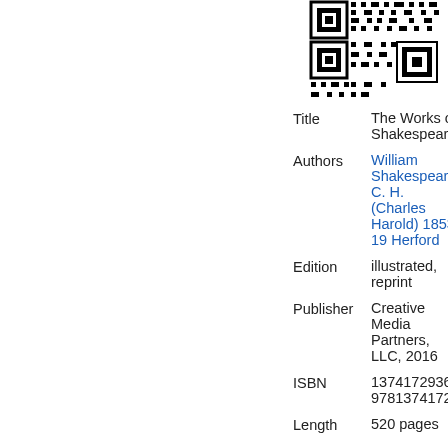[Figure (other): QR code image in the upper right area of the page]
| Title | The Works of Shakespeare; |
| Authors | William Shakespeare, C. H. (Charles Harold) 1853-19 Herford |
| Edition | illustrated, reprint |
| Publisher | Creative Media Partners, LLC, 2016 |
| ISBN | 1374172936, 9781374172937 |
| Length | 520 pages |
| Export Citation | BiBTeX | EndNote |